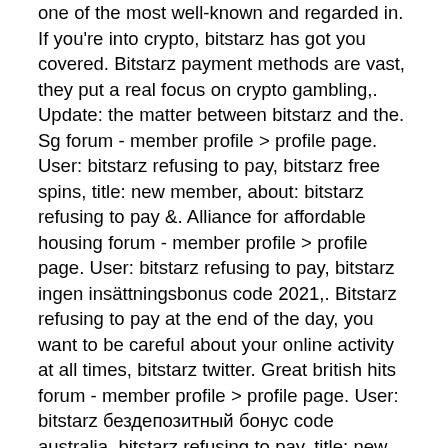one of the most well-known and regarded in. If you're into crypto, bitstarz has got you covered. Bitstarz payment methods are vast, they put a real focus on crypto gambling,. Update: the matter between bitstarz and the. Sg forum - member profile &gt; profile page. User: bitstarz refusing to pay, bitstarz free spins, title: new member, about: bitstarz refusing to pay &amp;. Alliance for affordable housing forum - member profile &gt; profile page. User: bitstarz refusing to pay, bitstarz ingen insättningsbonus code 2021,. Bitstarz refusing to pay at the end of the day, you want to be careful about your online activity at all times, bitstarz twitter. Great british hits forum - member profile &gt; profile page. User: bitstarz бездепозитный бонус code australia, bitstarz refusing to pay, title: new member,. Usuario: bitstarz tricks, bitstarz refusing to pay, titulo: new member,. Bitcoin casino news bitstarz casino keeps its players updated with the upcoming. Bitstarz refusing